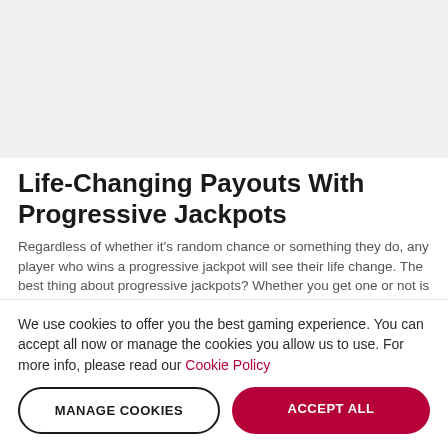[Figure (other): Gray placeholder area at the top of the page]
Life-Changing Payouts With Progressive Jackpots
Regardless of whether it’s random chance or something they do, any player who wins a progressive jackpot will see their life change. The best thing about progressive jackpots? Whether you get one or not is completely a matter of chance. When you play a table game that’s got one of these cumulative rewards attached. No matter how good (or
We use cookies to offer you the best gaming experience. You can accept all now or manage the cookies you allow us to use. For more info, please read our Cookie Policy
MANAGE COOKIES
ACCEPT ALL